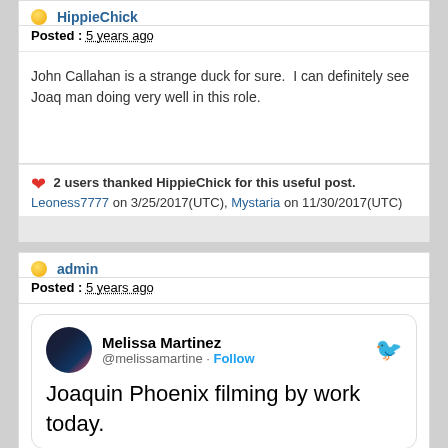HippieChick
Posted : 5 years ago
John Callahan is a strange duck for sure.  I can definitely see Joaq man doing very well in this role.
2 users thanked HippieChick for this useful post. Leoness7777 on 3/25/2017(UTC), Mystaria on 11/30/2017(UTC)
admin
Posted : 5 years ago
[Figure (screenshot): Embedded tweet from Melissa Martinez (@melissamartine) with Follow button and Twitter bird icon. Tweet text: Joaquin Phoenix filming by work today.]